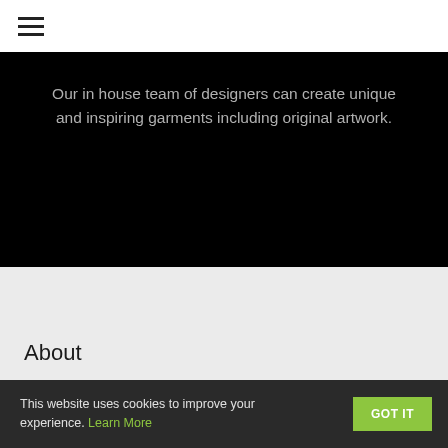≡ (hamburger menu icon)
Our in house team of designers can create unique and inspiring garments including original artwork.
About
This website uses cookies to improve your experience. Learn More
GOT IT